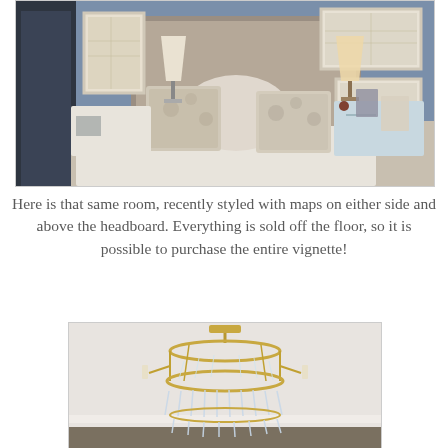[Figure (photo): Bedroom scene with a padded headboard, decorative pillows, two white lamps on nightstands, and framed maps on the wall above and beside the headboard.]
Here is that same room, recently styled with maps on either side and above the headboard. Everything is sold off the floor, so it is possible to purchase the entire vignette!
[Figure (photo): A gold/brass chandelier with crystal drops hanging in a room with white walls and grey floor.]